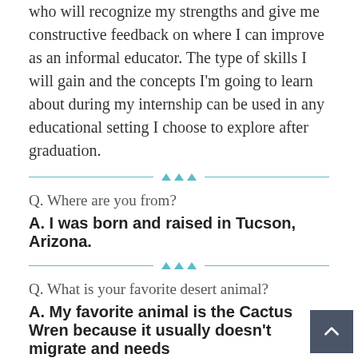who will recognize my strengths and give me constructive feedback on where I can improve as an informal educator. The type of skills I will gain and the concepts I'm going to learn about during my internship can be used in any educational setting I choose to explore after graduation.
Q. Where are you from?
A. I was born and raised in Tucson, Arizona.
Q. What is your favorite desert animal?
A. My favorite animal is the Cactus Wren because it usually doesn't migrate and needs